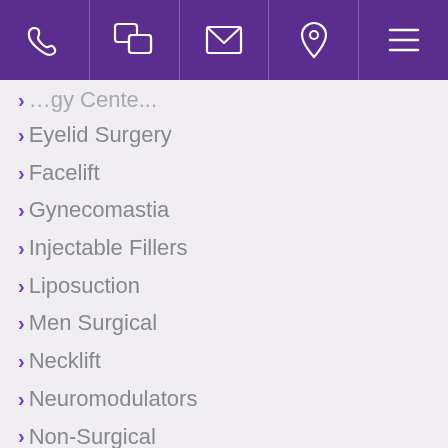[Figure (screenshot): Purple top navigation bar with icons: phone, chat, email, location pin, hamburger menu]
Eyelid Surgery
Facelift
Gynecomastia
Injectable Fillers
Liposuction
Men Surgical
Necklift
Neuromodulators
Non-Surgical
Lasers
Nose Surgery
Nutrition
Plastic Surgery
Plastic Surgery Advice